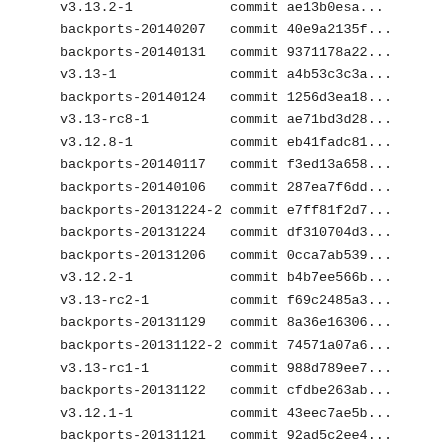v3.13.2-1    commit ae13b0esa...
backports-20140207    commit 40e9a2135f...
backports-20140131    commit 9371178a22...
v3.13-1    commit a4b53c3c3a...
backports-20140124    commit 1256d3ea18...
v3.13-rc8-1    commit ae71bd3d28...
v3.12.8-1    commit eb41fadc81...
backports-20140117    commit f3ed13a658...
backports-20140106    commit 287ea7f6dd...
backports-20131224-2    commit e7ff81f2d7...
backports-20131224    commit df310704d3...
backports-20131206    commit 0cca7ab539...
v3.12.2-1    commit b4b7ee566b...
v3.13-rc2-1    commit f69c2485a3...
backports-20131129    commit 8a36e16306...
backports-20131122-2    commit 74571a07a6...
v3.13-rc1-1    commit 988d789ee7...
backports-20131122    commit cfdbe263ab...
v3.12.1-1    commit 43eec7ae5b...
backports-20131121    commit 92ad5c2ee4...
v3.10.19-1    commit b619afbbfb...
v3.11.8-1    commit b22d1cda84...
backports-20131113    commit af44a4a4b1...
v3.12-1    commit 9ae6b6c18e...
backports-20131107    commit 20cf32af04...
backports-20131031    commit b3bb12e659...